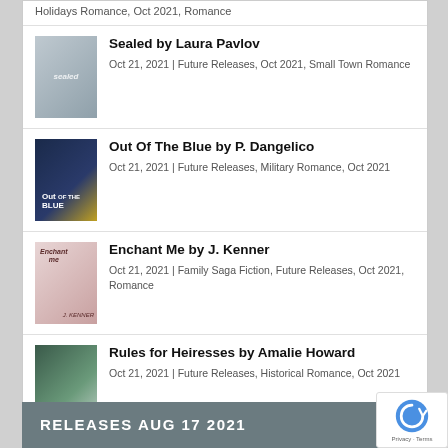Holidays Romance, Oct 2021, Romance
Sealed by Laura Pavlov
Oct 21, 2021 | Future Releases, Oct 2021, Small Town Romance
Out Of The Blue by P. Dangelico
Oct 21, 2021 | Future Releases, Military Romance, Oct 2021
Enchant Me by J. Kenner
Oct 21, 2021 | Family Saga Fiction, Future Releases, Oct 2021, Romance
Rules for Heiresses by Amalie Howard
Oct 21, 2021 | Future Releases, Historical Romance, Oct 2021
RELEASES AUG 17 2021